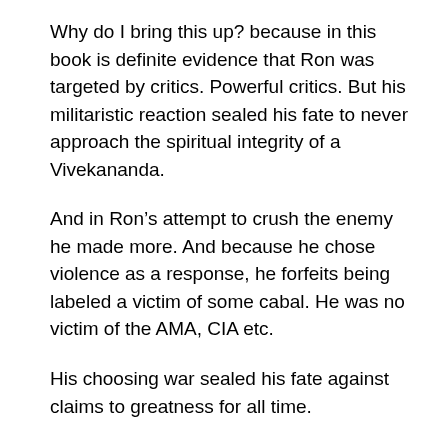Why do I bring this up? because in this book is definite evidence that Ron was targeted by critics. Powerful critics. But his militaristic reaction sealed his fate to never approach the spiritual integrity of a Vivekananda.
And in Ron’s attempt to crush the enemy he made more. And because he chose violence as a response, he forfeits being labeled a victim of some cabal. He was no victim of the AMA, CIA etc.
His choosing war sealed his fate against claims to greatness for all time.
Thank you Marty for the wild ride. May your continued expansion and success in your